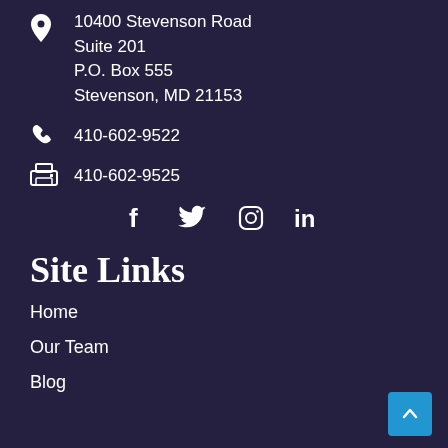10400 Stevenson Road
Suite 201
P.O. Box 555
Stevenson, MD 21153
410-602-9522
410-602-9525
[Figure (infographic): Social media icons: Facebook, Twitter, Instagram, LinkedIn]
Site Links
Home
Our Team
Blog